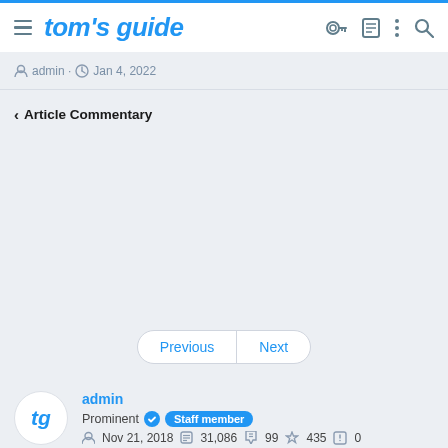tom's guide
admin · Jan 4, 2022
< Article Commentary
Previous | Next
admin
Prominent Staff member
Nov 21, 2018  31,086  99  435  0